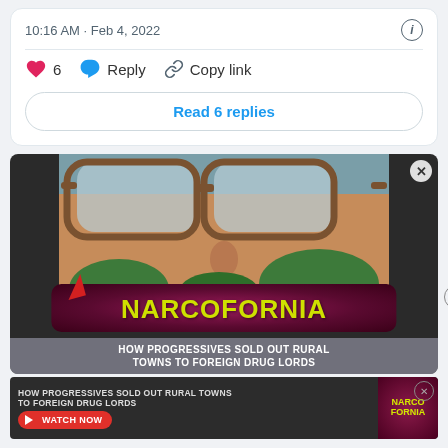10:16 AM · Feb 4, 2022
6   Reply   Copy link
Read 6 replies
[Figure (screenshot): Advertisement for 'NARCOFORNIA' book/documentary. Shows a person wearing sunglasses with text 'HOW PROGRESSIVES SOLD OUT RURAL TOWNS TO FOREIGN DRUG LORDS'. Below is a smaller banner ad with same content and a 'WATCH NOW' button.]